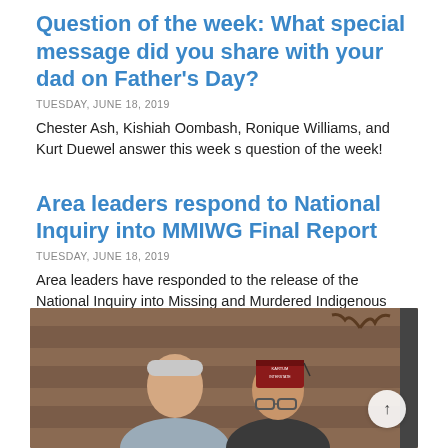Question of the week: What special message did you share with your dad on Father's Day?
TUESDAY, JUNE 18, 2019
Chester Ash, Kishiah Oombash, Ronique Williams, and Kurt Duewel answer this week s question of the week!
Area leaders respond to National Inquiry into MMIWG Final Report
TUESDAY, JUNE 18, 2019
Area leaders have responded to the release of the National Inquiry into Missing and Murdered Indigenous Women and Girls (MMIWG) Final Report earlier this month in Gatineau, Quebec.
[Figure (photo): Photo of two men standing indoors in front of a log cabin wall. The man on the right wears a dark red Shriners fez hat with text 'KARTUM INTERSTATE 25' and glasses.]